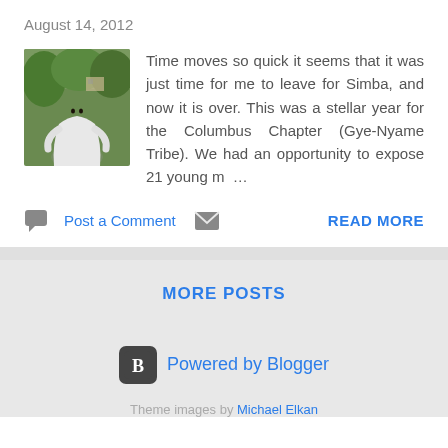August 14, 2012
[Figure (photo): Outdoor photo of a person wearing a white robe/outfit, with green trees in the background]
Time moves so quick it seems that it was just time for me to leave for Simba, and now it is over. This was a stellar year for the Columbus Chapter (Gye-Nyame Tribe). We had an opportunity to expose 21 young m ...
Post a Comment
READ MORE
MORE POSTS
Powered by Blogger
Theme images by Michael Elkan